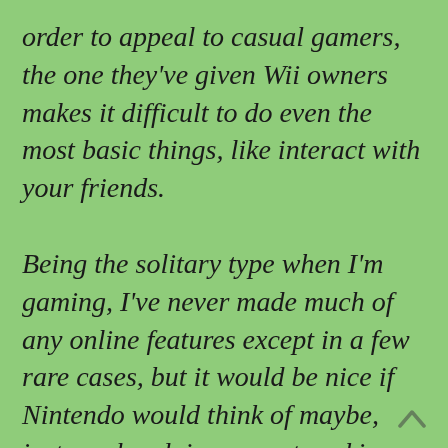order to appeal to casual gamers, the one they've given Wii owners makes it difficult to do even the most basic things, like interact with your friends.
Being the solitary type when I'm gaming, I've never made much of any online features except in a few rare cases, but it would be nice if Nintendo would think of maybe, just maybe, doing some tweaking with online functionality so it's more ... functional.
The Wii puts out some great